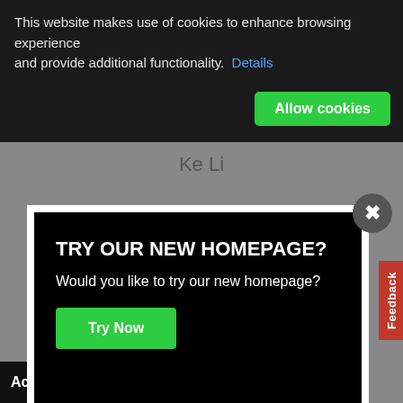This website makes use of cookies to enhance browsing experience and provide additional functionality. Details
Allow cookies
Ke Li
[Figure (screenshot): Modal popup with black background asking 'TRY OUR NEW HOMEPAGE?' with body text 'Would you like to try our new homepage?' and a green 'Try Now' button. A gray circular close button (X) is in the top-right corner. A red 'Feedback' tab is on the right side.]
Layal Hakim
Pete Vukusic
Accessibility Tools
Tim Jupp